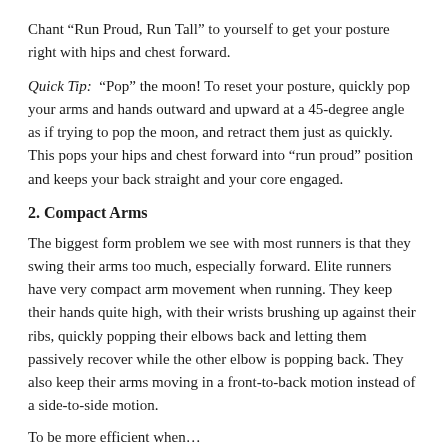Chant “Run Proud, Run Tall” to yourself to get your posture right with hips and chest forward.
Quick Tip: “Pop” the moon! To reset your posture, quickly pop your arms and hands outward and upward at a 45-degree angle as if trying to pop the moon, and retract them just as quickly. This pops your hips and chest forward into “run proud” position and keeps your back straight and your core engaged.
2. Compact Arms
The biggest form problem we see with most runners is that they swing their arms too much, especially forward. Elite runners have very compact arm movement when running. They keep their hands quite high, with their wrists brushing up against their ribs, quickly popping their elbows back and letting them passively recover while the other elbow is popping back. They also keep their arms moving in a front-to-back motion instead of a side-to-side motion.
To be more efficient when...